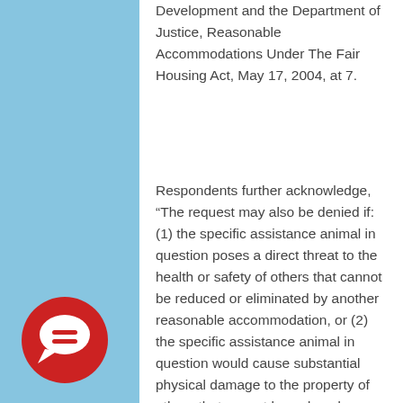Development and the Department of Justice, Reasonable Accommodations Under The Fair Housing Act, May 17, 2004, at 7.
Respondents further acknowledge, “The request may also be denied if: (1) the specific assistance animal in question poses a direct threat to the health or safety of others that cannot be reduced or eliminated by another reasonable accommodation, or (2) the specific assistance animal in question would cause substantial physical damage to the property of others that cannot be reduced or eliminated by another reasonable accommodation. Breed, size,
[Figure (logo): Red circular chat/message icon with white speech bubble and equals sign]